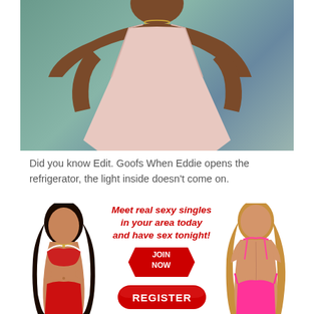[Figure (photo): Photo of a dark-skinned woman wearing a pink/blush halter-neck bodysuit, posed against a teal/green mottled background, upper body visible]
Did you know Edit. Goofs When Eddie opens the refrigerator, the light inside doesn't come on.
[Figure (infographic): Advertisement banner reading 'Meet real sexy singles in your area today and have sex tonight!' with JOIN NOW and REGISTER buttons, flanked by photos of two women in lingerie/bikini]